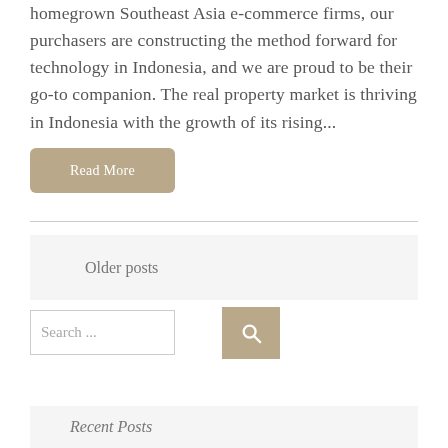homegrown Southeast Asia e-commerce firms, our purchasers are constructing the method forward for technology in Indonesia, and we are proud to be their go-to companion. The real property market is thriving in Indonesia with the growth of its rising...
Read More
Older posts
Search ...
Recent Posts